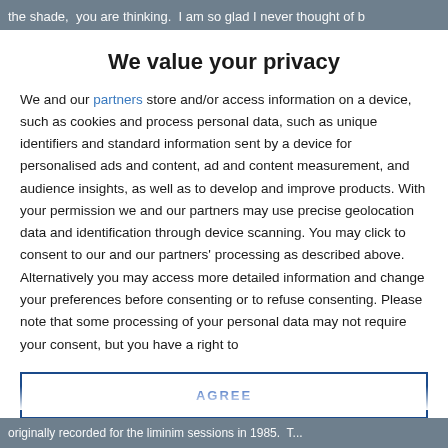the shade,  you are thinking.  I am so glad I never thought of b
We value your privacy
We and our partners store and/or access information on a device, such as cookies and process personal data, such as unique identifiers and standard information sent by a device for personalised ads and content, ad and content measurement, and audience insights, as well as to develop and improve products. With your permission we and our partners may use precise geolocation data and identification through device scanning. You may click to consent to our and our partners' processing as described above. Alternatively you may access more detailed information and change your preferences before consenting or to refuse consenting. Please note that some processing of your personal data may not require your consent, but you have a right to
AGREE
MORE OPTIONS
originally recorded for the liminim sessions in 1985.  T...